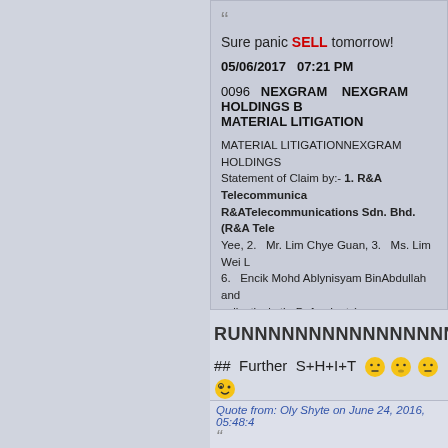Sure panic SELL tomorrow!
05/06/2017   07:21 PM
0096   NEXGRAM   NEXGRAM HOLDINGS BH... MATERIAL LITIGATION
MATERIAL LITIGATIONNEXGRAM HOLDINGS... Statement of Claim by:- 1. R&A Telecommunica... R&ATelecommunications Sdn. Bhd.(R&A Tele... Yee, 2.   Mr. Lim Chye Guan, 3.   Ms. Lim Wei L... 6.   Encik Mohd Ablynisyam BinAbdullah and ... collectively theDefendants) -
Verdict: Gantung sampai kojol? 😑 Argghhh...
RUNNNNNNNNNNNNNNNNNNNNNNN...
##  Further  S+H+I+T 😑😐😑😵
>>  🤔👆😁😉.....kihhhh 5X
Ohh yeaaaa  >> sure this one -  grandma...
Quote from: Oly Shyte on June 24, 2016, 05:48:4...